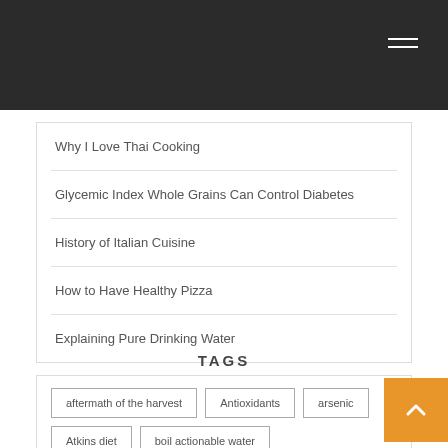Why I Love Thai Cooking
Glycemic Index Whole Grains Can Control Diabetes
History of Italian Cuisine
How to Have Healthy Pizza
Explaining Pure Drinking Water
TAGS
aftermath of the harvest   Antioxidants   arsenic
Atkins diet   boil actionable water